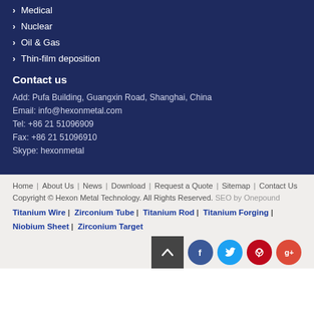Medical
Nuclear
Oil & Gas
Thin-film deposition
Contact us
Add: Pufa Building, Guangxin Road, Shanghai, China
Email: info@hexonmetal.com
Tel: +86 21 51096909
Fax: +86 21 51096910
Skype: hexonmetal
Home | About Us | News | Download | Request a Quote | Sitemap | Contact Us Copyright © Hexon Metal Technology. All Rights Reserved. SEO by Onepound Titanium Wire | Zirconium Tube | Titanium Rod | Titanium Forging | Niobium Sheet | Zirconium Target